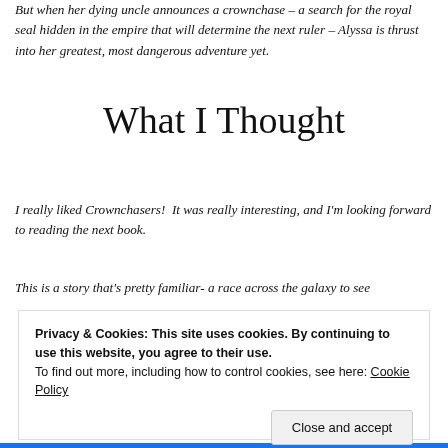But when her dying uncle announces a crownchase – a search for the royal seal hidden in the empire that will determine the next ruler – Alyssa is thrust into her greatest, most dangerous adventure yet.
What I Thought
I really liked Crownchasers! It was really interesting, and I'm looking forward to reading the next book.
This is a story that's pretty familiar- a race across the galaxy to see
Privacy & Cookies: This site uses cookies. By continuing to use this website, you agree to their use.
To find out more, including how to control cookies, see here: Cookie Policy
Close and accept